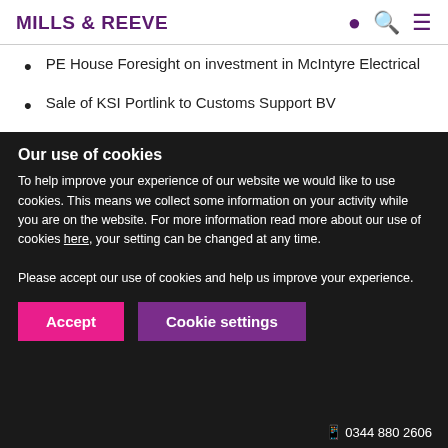MILLS & REEVE
PE House Foresight on investment in McIntyre Electrical
Sale of KSI Portlink to Customs Support BV
What do others say?
Our use of cookies
To help improve your experience of our website we would like to use cookies. This means we collect some information on your activity while you are on the website. For more information read more about our use of cookies here, your setting can be changed at any time.
Please accept our use of cookies and help us improve your experience.
Accept   Cookie settings
0344 880 2666